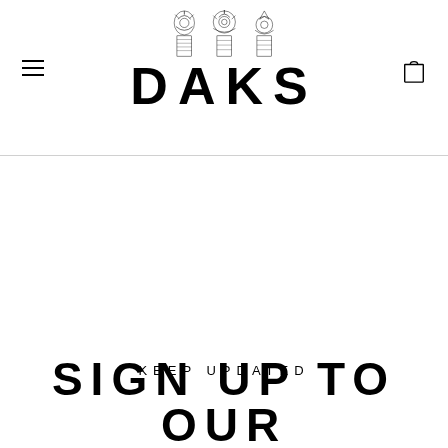[Figure (logo): DAKS brand logo with three royal warrant crests above the wordmark DAKS in bold condensed font]
KEEP UPDATED
SIGN UP TO OUR